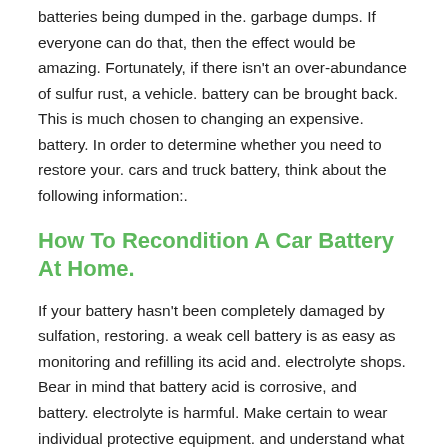batteries being dumped in the. garbage dumps. If everyone can do that, then the effect would be amazing. Fortunately, if there isn't an over-abundance of sulfur rust, a vehicle. battery can be brought back. This is much chosen to changing an expensive. battery. In order to determine whether you need to restore your. cars and truck battery, think about the following information:.
How To Recondition A Car Battery At Home.
If your battery hasn't been completely damaged by sulfation, restoring. a weak cell battery is as easy as monitoring and refilling its acid and. electrolyte shops. Bear in mind that battery acid is corrosive, and battery. electrolyte is harmful. Make certain to wear individual protective equipment. and understand what to do in the event of an acid spill.
How To Recondition Lead-acid Batteries
Something that you do not even think about is the reality that